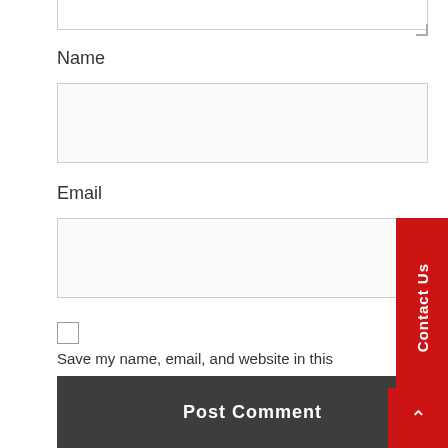Name
Email
Save my name, email, and website in this browser for the next time I comment.
Post Comment
Contact Us